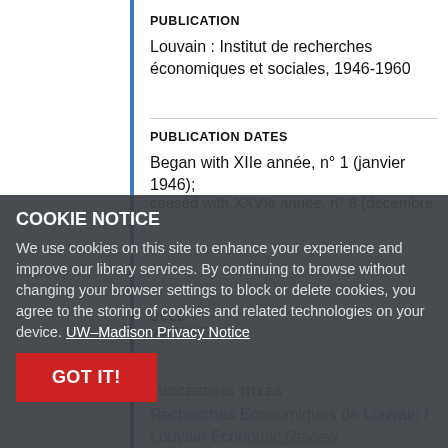PUBLICATION
Louvain : Institut de recherches économiques et sociales, 1946-1960
PUBLICATION DATES
Began with XIIe année, n° 1 (janvier 1946); ceased with XXVIe année, n° 8 (décembre
OCLC
ocn742074438
COOKIE NOTICE
We use cookies on this site to enhance your experience and improve our library services. By continuing to browse without changing your browser settings to block or delete cookies, you agree to the storing of cookies and related technologies on your device. UW–Madison Privacy Notice
SUCCEEDING TITLES
Recherches Économiques de Louvain / Louvain Economic Review